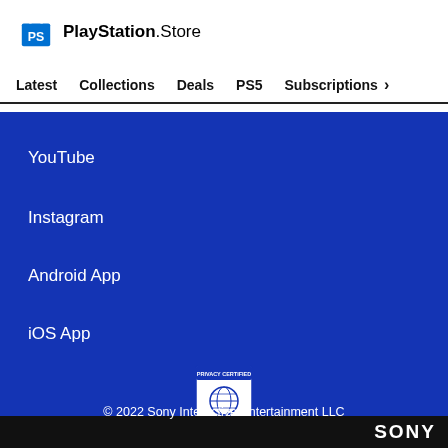[Figure (logo): PlayStation Store logo with blue shopping bag icon and PlayStation Store text]
Latest   Collections   Deals   PS5   Subscriptions >
YouTube
Instagram
Android App
iOS App
[Figure (logo): ESRB Privacy Certified badge with globe and ribbon graphic]
© 2022 Sony Interactive Entertainment LLC
SONY